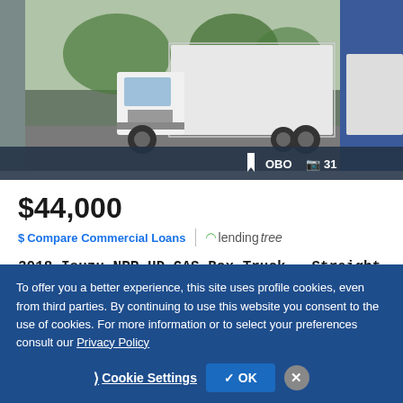[Figure (photo): White 2018 Isuzu NPR HD box truck photographed outdoors in a parking/yard area. The truck is a cab-over style with a large white cargo box. Trees visible in background. Photo strip on left is gray, right side shows partial image with blue sky. Badge shows OBO and 31 photos.]
$44,000
$ Compare Commercial Loans | lendingtree
2018 Isuzu NPR HD GAS Box Truck - Straight Truck
98,130 miles
Private Seller
Henrico, VA - 110 mi. away
To offer you a better experience, this site uses profile cookies, even from third parties. By continuing to use this website you consent to the use of cookies. For more information or to select your preferences consult our Privacy Policy